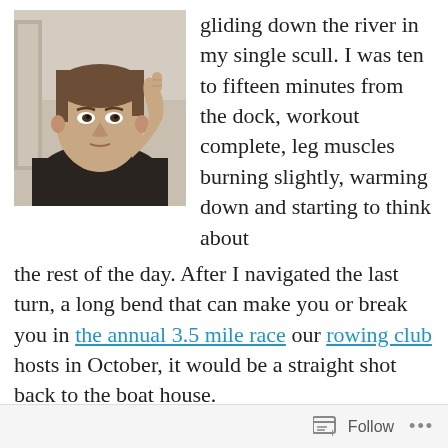[Figure (photo): A man pointing his index finger upward, wearing a dark shirt, photographed indoors.]
gliding down the river in my single scull. I was ten to fifteen minutes from the dock, workout complete, leg muscles burning slightly, warming down and starting to think about the rest of the day. After I navigated the last turn, a long bend that can make you or break you in the annual 3.5 mile race our rowing club hosts in October, it would be a straight shot back to the boat house.
Then I noticed another sculler on my port side:
Follow ...